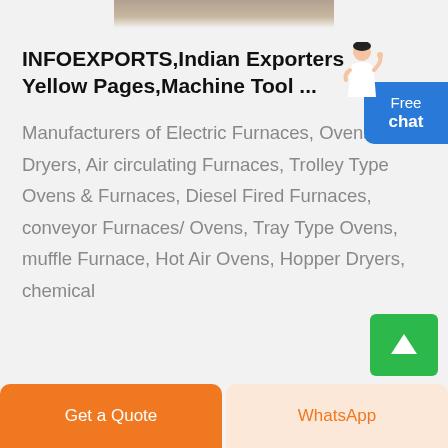[Figure (photo): Partial top image bar, cropped photo visible at top of page]
INFOEXPORTS,Indian Exporters Yellow Pages,Machine Tool ...
Manufacturers of Electric Furnaces, Ovens, Dryers, Air circulating Furnaces, Trolley Type Ovens & Furnaces, Diesel Fired Furnaces, conveyor Furnaces/ Ovens, Tray Type Ovens, muffle Furnace, Hot Air Ovens, Hopper Dryers, chemical
Get a Quote    WhatsApp